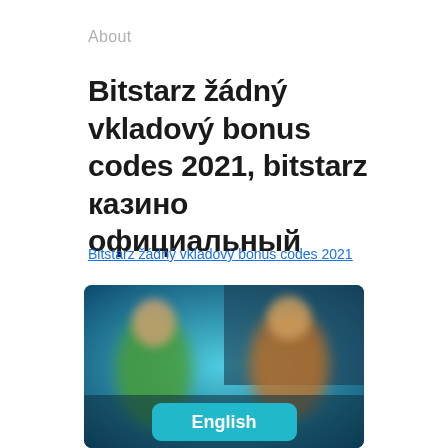About
Bitstarz žádný vkladový bonus codes 2021, bitstarz казино официальный
Bitstarz žádný vkladový bonus codes 2021
[Figure (screenshot): Blurred casino website screenshot showing characters/avatars with a teal 'English' language selection button at the bottom center.]